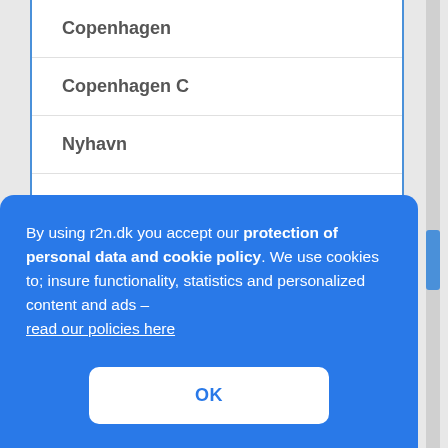Copenhagen
Copenhagen C
Nyhavn
Nørrebro
Vesterbro
By using r2n.dk you accept our protection of personal data and cookie policy. We use cookies to; insure functionality, statistics and personalized content and ads – read our policies here
OK